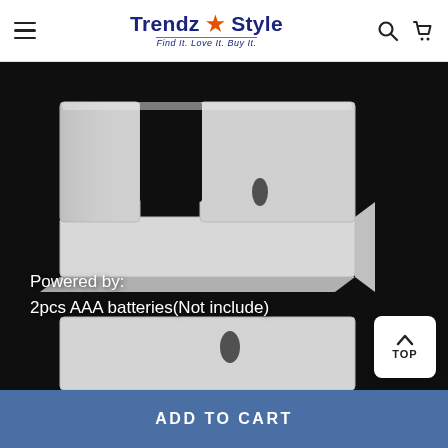Trendz & Style — Find It. Love It. Buy It.
[Figure (photo): White plastic bracket/mount accessory photographed against a dark/black background with text overlay reading 'Powered by: 2pcs AAA batteries(Not include)'. A second partial view of a similar bracket is visible at the bottom.]
Powered by:
2pcs AAA batteries(Not include)
TOP
ADD TO CART